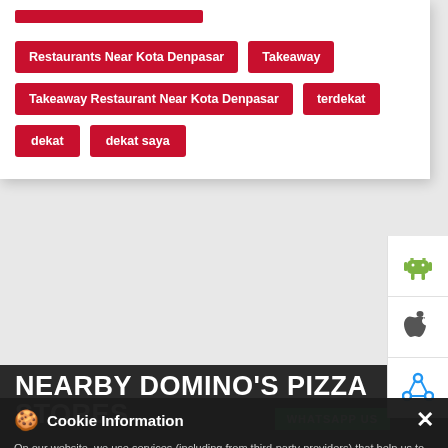[Figure (screenshot): White card with red tag buttons: a red bar at top, then row with 'Restaurants Near Kota Denpasar' and 'Takeaway', then row with 'Takeaway Restaurant Near Kota Denpasar' and 'terdekat', then row with 'dekat' and 'dekat saya']
NEARBY DOMINO'S PIZZA STORES
Cookie Information
On our website, we use services (including from third-party providers) that help us to improve our online presence (optimization of website) and to display content that is geared to their interests. We need your consent before being able to use these services.
Domino's Pizza
Kabupaten Gianyar
Denpasar - 80237
Delivery | Dine In | Takeaway